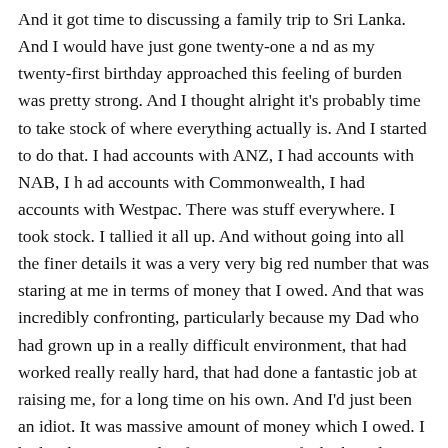And it got time to discussing a family trip to Sri Lanka. And I would have just gone twenty-one a nd as my twenty-first birthday approached this feeling of burden was pretty strong. And I thought alright it's probably time to take stock of where everything actually is. And I started to do that. I had accounts with ANZ, I had accounts with NAB, I h ad accounts with Commonwealth, I had accounts with Westpac. There was stuff everywhere. I took stock. I tallied it all up. And without going into all the finer details it was a very very big red number that was staring at me in terms of money that I owed. And that was incredibly confronting, particularly because my Dad who had grown up in a really difficult environment, that had worked really really hard, that had done a fantastic job at raising me, for a long time on his own. And I'd just been an idiot. It was massive amount of money which I owed. I had a chat to a couple of mentors, one of which said just go bankrupt, you're young enough